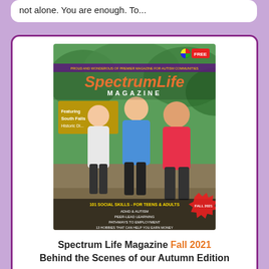not alone. You are enough. To...
[Figure (photo): Cover of Spectrum Life Magazine Fall 2021 edition, featuring three people standing outdoors near a sign for South Falls Historic District. The magazine title 'SpectrumLife MAGAZINE' is shown in large text. Bottom lists articles including '101 Social Skills for Teens & Adults', 'ADHD & Autism', 'Peer-Lead Learning', 'Pathways to Employment', '13 Hobbies That Can Help You Earn Money', 'Social Narrative & the Power of Story Telling'. Fall 2021 label appears in a starburst.]
Spectrum Life Magazine Fall 2021 Behind the Scenes of our Autumn Edition
[Figure (logo): Spectrum Life Magazine logo with colorful flower/petal design in rainbow colors and 'SpectrumLife MAGAZINE' text below]
Episode 021
[Figure (photo): Thumbnail for Autistic Life podcast with Karen Keota, showing a circular podcast artwork with microphone icon overlay]